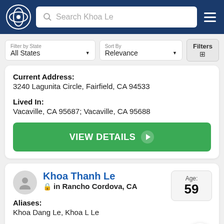Search Khoa Le
Filter by State: All States | Sort By: Relevance | Filters
Current Address:
3240 Lagunita Circle, Fairfield, CA 94533
Lived In:
Vacaville, CA 95687; Vacaville, CA 95688
VIEW DETAILS ➔
Khoa Thanh Le
in Rancho Cordova, CA
Age: 59
Aliases:
Khoa Dang Le, Khoa L Le
Relatives: